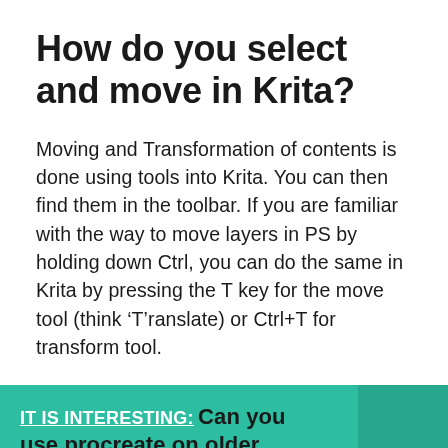How do you select and move in Krita?
Moving and Transformation of contents is done using tools into Krita. You can then find them in the toolbar. If you are familiar with the way to move layers in PS by holding down Ctrl, you can do the same in Krita by pressing the T key for the move tool (think ‘T’ranslate) or Ctrl+T for transform tool.
IT IS INTERESTING: Can you use procreate on older iPads?
How do I copy and paste a selection in Krita?